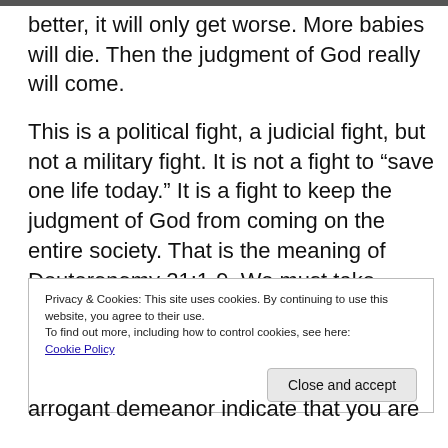better, it will only get worse. More babies will die. Then the judgment of God really will come.
This is a political fight, a judicial fight, but not a military fight. It is not a fight to “save one life today.” It is a fight to keep the judgment of God from coming on the entire society. That is the meaning of Deuteronomy 21:1-9. We must take those
Privacy & Cookies: This site uses cookies. By continuing to use this website, you agree to their use.
To find out more, including how to control cookies, see here:
Cookie Policy

[Close and accept]
arrogant demeanor indicate that you are